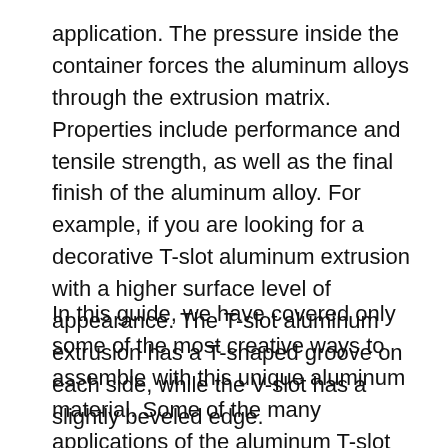application. The pressure inside the container forces the aluminum alloys through the extrusion matrix. Properties include performance and tensile strength, as well as the final finish of the aluminum alloy. For example, if you are looking for a decorative T-slot aluminum extrusion with a higher surface level of appearance. The T-slot aluminum extrusion has a T-shaped groove on each side, while the V-slot has a slightly beveled edge.
In this guide, we have covered only some of the most creative ways to assemble with this unique aluminum material. Some of the many applications of the aluminum T-slot can range from simple objects like tables to more complicated and modular structures like an aluminum platform